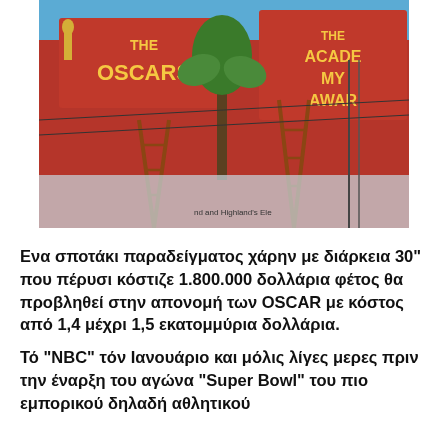[Figure (photo): Photo of the Oscars / Academy Awards venue exterior with red signage showing 'THE OSCARS' and 'THE ACADEMY AWARDS', palm trees, ladders, and scaffolding visible in the foreground under a blue sky.]
Ενα σποτάκι παραδείγματος χάρην με διάρκεια 30" που πέρυσι κόστιζε 1.800.000 δολλάρια φέτος  θα προβληθεί στην απονομή των OSCAR με κόστος από  1,4 μέχρι 1,5 εκατομμύρια δολλάρια.
Τό "NBC" τόν Ιανουάριο και μόλις λίγες μερες πριν την έναρξη του αγώνα "Super Bowl"  του πιο εμπορικού δηλαδή αθλητικού πρωταθλήματος για την αμερικανική